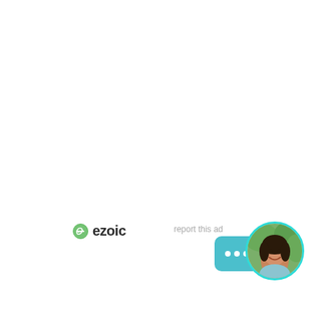[Figure (logo): Ezoic logo with green circular icon and bold dark text reading 'ezoic']
report this ad
[Figure (illustration): Teal/cyan speech bubble with three white dots (ellipsis) indicating a chat or message widget, with an arrow pointing right toward a circular avatar photo of a smiling woman with dark hair, framed by a cyan/teal circular border]